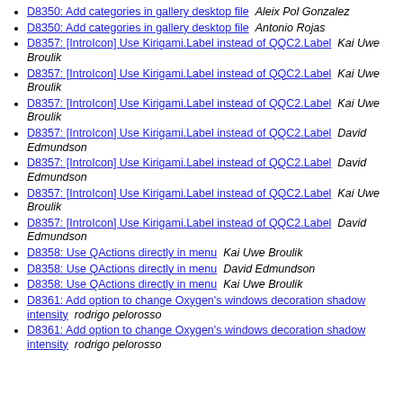D8350: Add categories in gallery desktop file  Aleix Pol Gonzalez
D8350: Add categories in gallery desktop file  Antonio Rojas
D8357: [IntroIcon] Use Kirigami.Label instead of QQC2.Label  Kai Uwe Broulik
D8357: [IntroIcon] Use Kirigami.Label instead of QQC2.Label  Kai Uwe Broulik
D8357: [IntroIcon] Use Kirigami.Label instead of QQC2.Label  Kai Uwe Broulik
D8357: [IntroIcon] Use Kirigami.Label instead of QQC2.Label  David Edmundson
D8357: [IntroIcon] Use Kirigami.Label instead of QQC2.Label  David Edmundson
D8357: [IntroIcon] Use Kirigami.Label instead of QQC2.Label  Kai Uwe Broulik
D8357: [IntroIcon] Use Kirigami.Label instead of QQC2.Label  David Edmundson
D8358: Use QActions directly in menu  Kai Uwe Broulik
D8358: Use QActions directly in menu  David Edmundson
D8358: Use QActions directly in menu  Kai Uwe Broulik
D8361: Add option to change Oxygen's windows decoration shadow intensity  rodrigo pelorosso
D8361: Add option to change Oxygen's windows decoration shadow intensity  rodrigo pelorosso